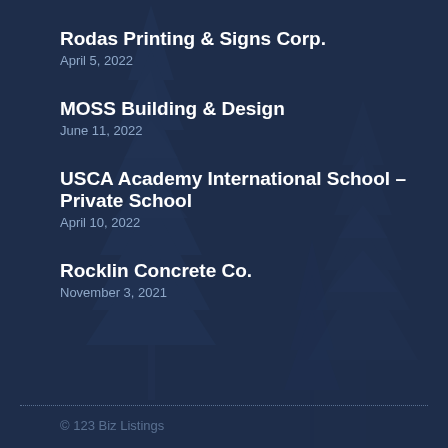Rodas Printing & Signs Corp.
April 5, 2022
MOSS Building & Design
June 11, 2022
USCA Academy International School – Private School
April 10, 2022
Rocklin Concrete Co.
November 3, 2021
© 123 Biz Listings